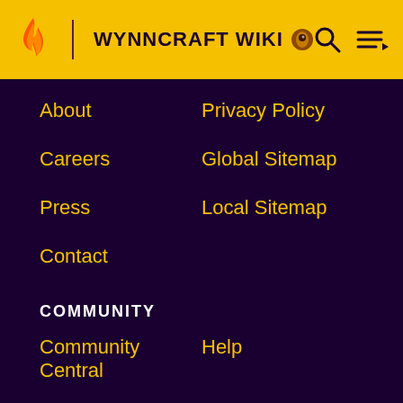WYNNCRAFT WIKI
About
Privacy Policy
Careers
Global Sitemap
Press
Local Sitemap
Contact
COMMUNITY
Community Central
Help
Support
ADVERTISE
Media Kit
Fandomatic